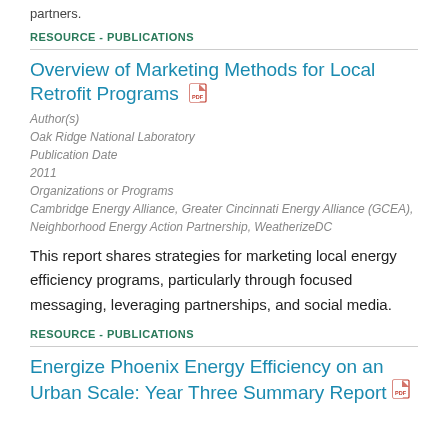partners.
RESOURCE - PUBLICATIONS
Overview of Marketing Methods for Local Retrofit Programs
Author(s)
Oak Ridge National Laboratory
Publication Date
2011
Organizations or Programs
Cambridge Energy Alliance, Greater Cincinnati Energy Alliance (GCEA), Neighborhood Energy Action Partnership, WeatherizeDC
This report shares strategies for marketing local energy efficiency programs, particularly through focused messaging, leveraging partnerships, and social media.
RESOURCE - PUBLICATIONS
Energize Phoenix Energy Efficiency on an Urban Scale: Year Three Summary Report